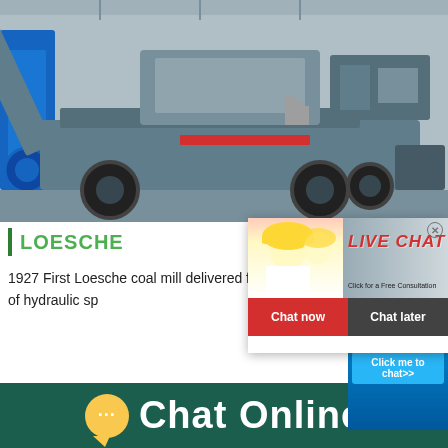[Figure (photo): Industrial mobile crushing machine/plant in a factory setting. Large grey and black machine on wheels with conveyor arm, red stripe detail, photographed in an industrial warehouse.]
[Figure (screenshot): Live Chat popup overlay showing workers in hard hats, 'LIVE CHAT' in red italic text, 'Click for a Free Consultation' subtitle, 'Chat now' red button and 'Chat later' dark button. Right side shows a cone crusher machine image with 'hour online' text and 'Click me to chat>>' blue button.]
LOESCHE
1927 First Loesche coal mill delivered for the power station in Berlin. 1953 500th coal mill worldwide. 1961 Introduction of hydraulic sp
[Figure (screenshot): Bottom dark teal bar with chat bubble icon and 'Chat Online' text in white.]